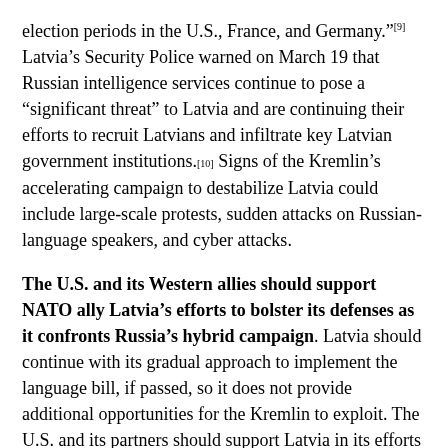election periods in the U.S., France, and Germany."[9] Latvia's Security Police warned on March 19 that Russian intelligence services continue to pose a "significant threat" to Latvia and are continuing their efforts to recruit Latvians and infiltrate key Latvian government institutions.[10] Signs of the Kremlin's accelerating campaign to destabilize Latvia could include large-scale protests, sudden attacks on Russian-language speakers, and cyber attacks.
The U.S. and its Western allies should support NATO ally Latvia's efforts to bolster its defenses as it confronts Russia's hybrid campaign. Latvia should continue with its gradual approach to implement the language bill, if passed, so it does not provide additional opportunities for the Kremlin to exploit. The U.S. and its partners should support Latvia in its efforts to deny Russia the ability to foment political unrest and vie for domestic political influence. These countermeasures could include bolstering efforts to ensure that Kremlin-backed media does not dominate the information space for Russian-speaking Latvians, increasing tailored support to Latvian intelligence and law enforcement